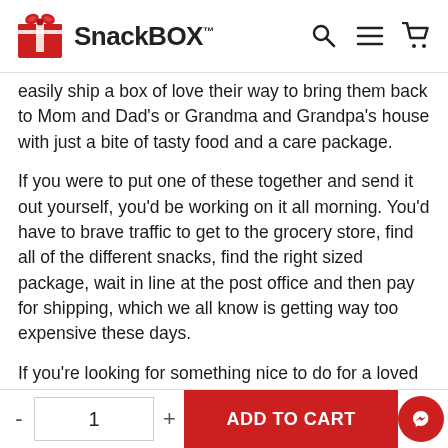SnackBOX™
easily ship a box of love their way to bring them back to Mom and Dad's or Grandma and Grandpa's house with just a bite of tasty food and a care package.
If you were to put one of these together and send it out yourself, you'd be working on it all morning. You'd have to brave traffic to get to the grocery store, find all of the different snacks, find the right sized package, wait in line at the post office and then pay for shipping, which we all know is getting way too expensive these days.
If you're looking for something nice to do for a loved one that's going to bring a smile to their face, send them one of our delicious snack boxes and know that they won't be going to bed hungry. All you have to do is scroll back up to the top of the